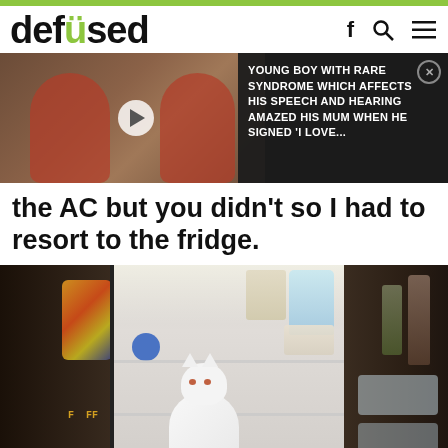[Figure (screenshot): Defused website header with green top bar, logo reading 'defused' with a green dotted 'u', and icons for Facebook, search, and menu.]
[Figure (screenshot): Video thumbnail showing a young boy in a red outfit sitting in a shopping cart, with a play button overlay on the left, and a dark overlay card on the right reading: YOUNG BOY WITH RARE SYNDROME WHICH AFFECTS HIS SPEECH AND HEARING AMAZED HIS MUM WHEN HE SIGNED 'I LOVE...' with an X close button.]
the AC but you didn't so I had to resort to the fridge.
[Figure (photo): Photo of a white cat sitting inside an open refrigerator, looking at the camera. The fridge is full of food items. The left side shows the outside of the fridge door with magnets.]